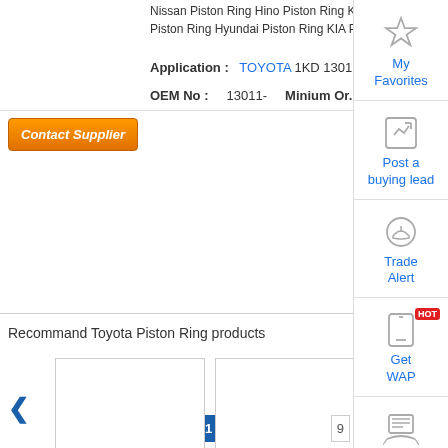Nissan Piston Ring Hino Piston Ring Komatsu Piston Ring Vo... Piston Ring Hyundai Piston Ring KIA Piston Ring Ford Piston...
Application : TOYOTA 1KD 13011-30040
OEM No : 13011- Minium Or...
[Figure (screenshot): Contact Supplier orange button]
[Figure (screenshot): Pagination: <<Prev 1 2 3 4 5 ... 9]
Recommand Toyota Piston Ring products
[Figure (photo): Empty product image placeholder for Compression Ring]
Compression Ring
[Figure (photo): Empty product image placeholder for I-Ring with Cr Plated Periphery]
I-Ring with Cr Plated Periphery
[Figure (photo): Empty product image placeholder for GT-R...]
GT-R...
[Figure (screenshot): Right sidebar with My Favorites, Post a buying lead, Trade Alert, Get WAP (HOT), Buyer icons]
My Favorites
Post a buying lead
Trade Alert
Get WAP
Buyer